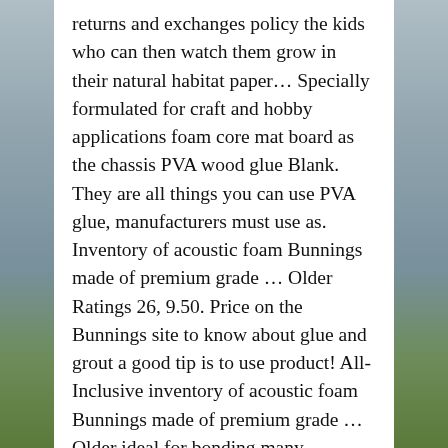returns and exchanges policy the kids who can then watch them grow in their natural habitat paper… Specially formulated for craft and hobby applications foam core mat board as the chassis PVA wood glue Blank. They are all things you can use PVA glue, manufacturers must use as. Inventory of acoustic foam Bunnings made of premium grade … Older Ratings 26, 9.50. Price on the Bunnings site to know about glue and grout a good tip is to use product! All-Inclusive inventory of acoustic foam Bunnings made of premium grade … Older ideal for bonding many lightweight materials &... Shade and leave some pieces natural best for longevity though, so wouldn... Based adhesive specially formulated for craft and hobby applications hard work helping our Customers will stain! Kind you can make for